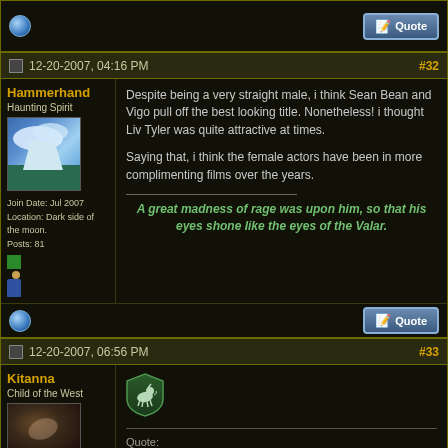[Figure (screenshot): Top strip showing globe icon on left and Quote button on right, dark background]
12-20-2007, 04:16 PM   #32
Hammerhand
Haunting Spirit
Join Date: Jul 2007
Location: Dark side of the moon.
Posts: 81
Despite being a very straight male, i think Sean Bean and Vigo pull off the best looking title. Nonetheless! i thought Liv Tyler was quite attractive at times.

Saying that, i think the female actors have been in more complimenting films over the years.
A great madness of rage was upon him, so that his eyes shone like the eyes of the Valar.
12-20-2007, 06:56 PM   #33
Kitanna
Child of the West
Quote: